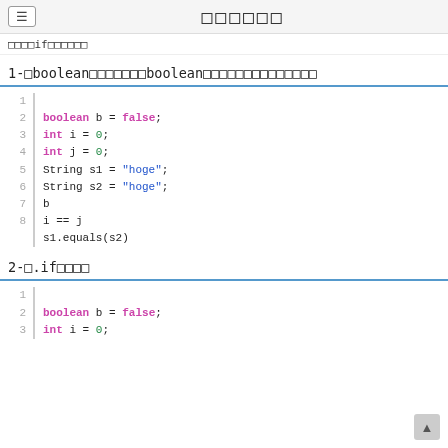≡
□□□□if□□□□□□□
1-□boolean□□□□□□□□boolean□□□□□□□□□□□□□□□□
[Figure (screenshot): Code block showing Java variable declarations: boolean b = false; int i = 0; int j = 0; String s1 = "hoge"; String s2 = "hoge"; b; i == j; s1.equals(s2)]
2-□.if□□□□□
[Figure (screenshot): Code block showing: boolean b = false; int i = 0;]